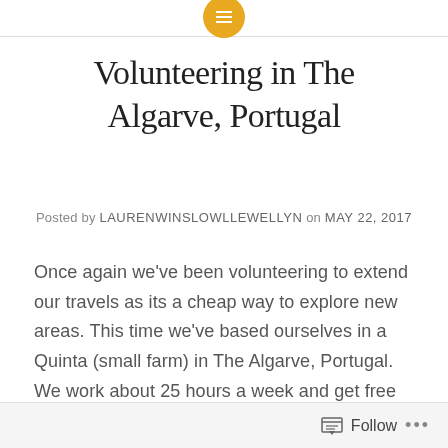Volunteering in The Algarve, Portugal
Posted by LAURENWINSLOWLLEWELLYN on MAY 22, 2017
Once again we’ve been volunteering to extend our travels as its a cheap way to explore new areas. This time we’ve based ourselves in a Quinta (small farm) in The Algarve, Portugal. We work about 25 hours a week and get free food and accommodation, and this place was a great find with our own granny flat and delicious food!
Follow ...